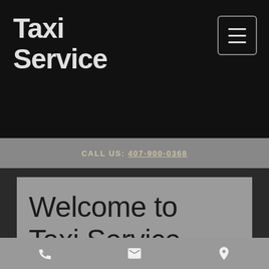Taxi Service
CALL US: 407-900-0368
Welcome to Taxi Service
We are here to help you save money and get to your destination safely.
Phone | Email | Location